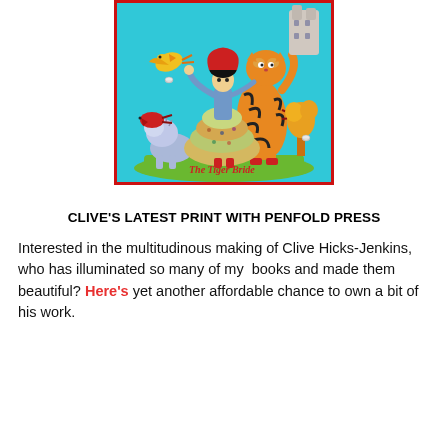[Figure (illustration): Colorful folk-art style illustration on a bright turquoise/cyan background. Shows a tiger in striped orange and black standing upright beside a woman in a layered patterned dress (the bride). Various birds in yellow and red, a blue lion cub, golden yellow tree/cactus shapes, and a tower/building in the upper right. Text at bottom reads 'The Tiger Bride'. The illustration is bordered by a thin red frame.]
CLIVE'S LATEST PRINT WITH PENFOLD PRESS
Interested in the multitudinous making of Clive Hicks-Jenkins, who has illuminated so many of my  books and made them beautiful? Here's yet another affordable chance to own a bit of his work.